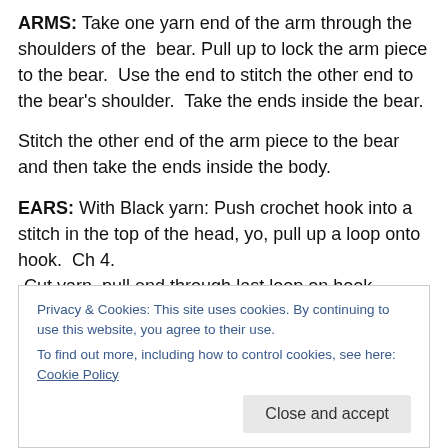ARMS: Take one yarn end of the arm through the shoulders of the bear. Pull up to lock the arm piece to the bear. Use the end to stitch the other end to the bear's shoulder. Take the ends inside the bear.
Stitch the other end of the arm piece to the bear and then take the ends inside the body.
EARS: With Black yarn: Push crochet hook into a stitch in the top of the head, yo, pull up a loop onto hook. Ch 4. -Cut yarn, pull end through last loop on hook.
-Tie a knot with first yarn end, then thread yarn end into
Privacy & Cookies: This site uses cookies. By continuing to use this website, you agree to their use.
To find out more, including how to control cookies, see here: Cookie Policy